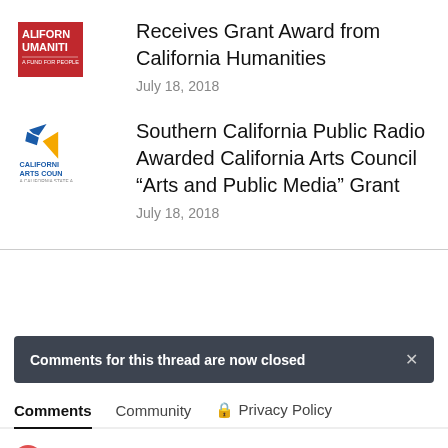[Figure (logo): California Humanities logo - red square with white text CALIFORN UMANITI]
Receives Grant Award from California Humanities
July 18, 2018
[Figure (logo): California Arts Council logo - blue bird and orange shape with text CALIFORNIA ARTS COUNCIL]
Southern California Public Radio Awarded California Arts Council “Arts and Public Media” Grant
July 18, 2018
Comments for this thread are now closed
Comments  Community  Privacy Policy
Login